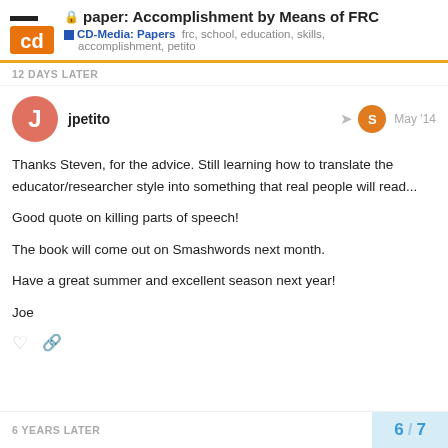paper: Accomplishment by Means of FRC — CD-Media: Papers — frc, school, education, skills, accomplishment, petito
12 DAYS LATER
jpetito — May '14
Thanks Steven, for the advice. Still learning how to translate the educator/researcher style into something that real people will read...

Good quote on killing parts of speech!

The book will come out on Smashwords next month.

Have a great summer and excellent season next year!

Joe
6 YEARS LATER
6 / 7